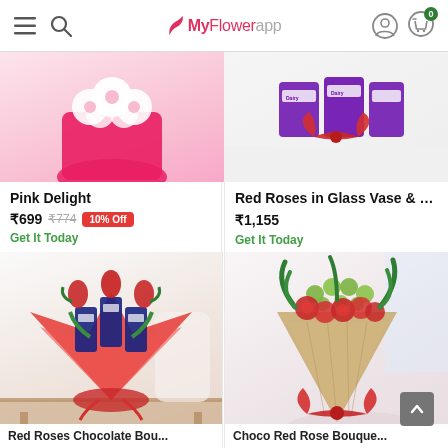MyFlowerapp — hamburger menu, search, user icon, cart (0)
[Figure (screenshot): Pink Delight product — bouquet of pink/white flowers in pink wrapping, partially visible at top of card]
Pink Delight
₹699  ₹774  10% Off
Get It Today
[Figure (screenshot): Red Roses in Glass Vase & Dairy Milk chocolates — purple Dairy Milk bars with red ribbon bow, partially visible]
Red Roses in Glass Vase & D...
₹1,155
Get It Today
[Figure (screenshot): Red roses and Dairy Milk chocolate bouquet in red wrapping with bow, on wooden table, white chair in background]
Red Roses Chocolate Bou...
[Figure (screenshot): Classic red rose bouquet wrapped in jute/burlap with red ribbon, green button flowers mixed in, on white table]
Choco Red Rose Bouque...